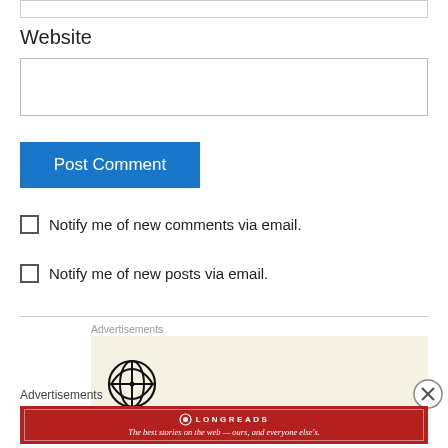Website
[Figure (screenshot): A web form with a Website text input field, a blue Post Comment button, two checkboxes for email notifications, and advertisement areas including a WordPress logo ad and a Longreads banner ad.]
Notify me of new comments via email.
Notify me of new posts via email.
Advertisements
Advertisements
The best stories on the web — ours, and everyone else's.